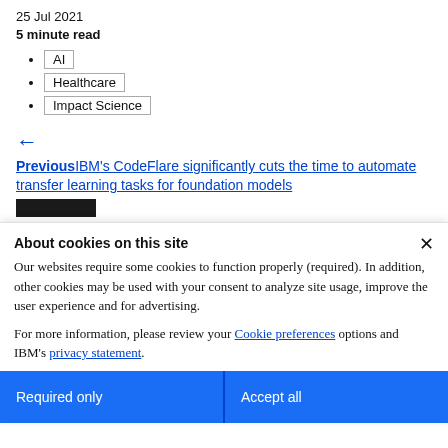25 Jul 2021
5 minute read
AI
Healthcare
Impact Science
← PreviousIBM's CodeFlare significantly cuts the time to automate transfer learning tasks for foundation models
About cookies on this site
Our websites require some cookies to function properly (required). In addition, other cookies may be used with your consent to analyze site usage, improve the user experience and for advertising.
For more information, please review your Cookie preferences options and IBM's privacy statement.
Required only
Accept all